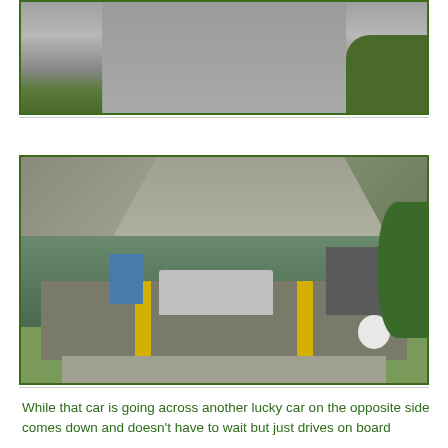[Figure (photo): Aerial or elevated view of a road/ramp descending to water, with foliage on the right side.]
[Figure (photo): Aerial view of a cable ferry on a river with a car loaded on the deck. A blue portable toilet, operator cab, white propane tank, and stop sign are visible. Rocky banks and a road ramp are visible on both sides of the river.]
While that car is going across another lucky car on the opposite side comes down and doesn't have to wait but just drives on board